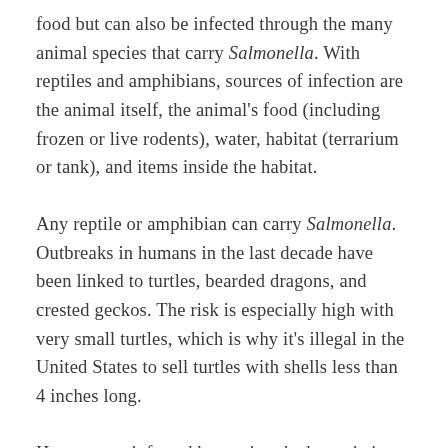food but can also be infected through the many animal species that carry Salmonella. With reptiles and amphibians, sources of infection are the animal itself, the animal's food (including frozen or live rodents), water, habitat (terrarium or tank), and items inside the habitat.
Any reptile or amphibian can carry Salmonella. Outbreaks in humans in the last decade have been linked to turtles, bearded dragons, and crested geckos. The risk is especially high with very small turtles, which is why it's illegal in the United States to sell turtles with shells less than 4 inches long.
Humans are infected by getting the bacteria in their mouths, so good hygiene—such as washing hands and keeping habitats clean—helps prevent infection. Symptoms of infection in people include diarrhea, vomiting, cramps, and fever. The risk of severe illness